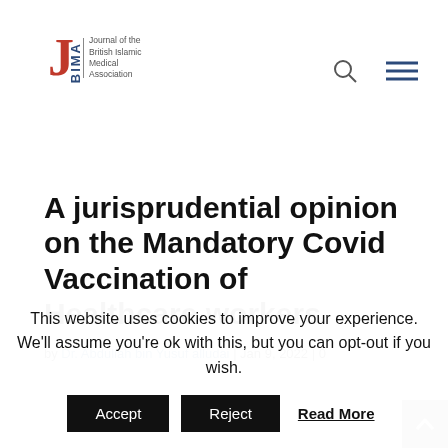[Figure (logo): JBIMA - Journal of the British Islamic Medical Association logo with red J and blue BIMA text]
A jurisprudential opinion on the Mandatory Covid Vaccination of Healthcare workers
by Dr. Abdullah bin Yusuf alludai | Jan 9, 2022 | 0
This website uses cookies to improve your experience. We'll assume you're ok with this, but you can opt-out if you wish.